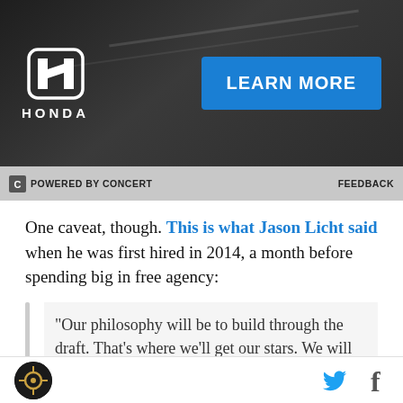[Figure (other): Honda advertisement banner with Honda logo on left and 'LEARN MORE' blue button on right, dark gradient background]
POWERED BY CONCERT   FEEDBACK
One caveat, though. This is what Jason Licht said when he was first hired in 2014, a month before spending big in free agency:
"Our philosophy will be to build through the draft. That's where we'll get our stars. We will supplement our roster through free agency. We're going to look for value, we're going to spend wisely. The better teams in the NFL that compete year after year are the teams that draft the best."